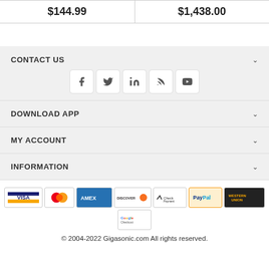| $144.99 | $1,438.00 |
CONTACT US
[Figure (other): Social media icons: Facebook, Twitter, LinkedIn, RSS, YouTube]
DOWNLOAD APP
MY ACCOUNT
INFORMATION
[Figure (other): Payment method logos: VISA, MasterCard, American Express, Discover, Check Payment, PayPal, Western Union, Google Checkout]
© 2004-2022 Gigasonic.com All rights reserved.